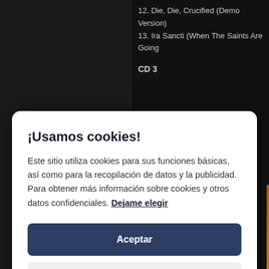12. Die, Die, Crucified (Demo Version)
13. Ira Sancti (When The Saints Are Going
CD 3
¡Usamos cookies!
Este sitio utiliza cookies para sus funciones básicas, así como para la recopilación de datos y la publicidad. Para obtener más información sobre cookies y otros datos confidenciales. Dejame elegir
Aceptar
Close
the 10th anniversary of "Blood Of The S teamed up with Metal Blade Records to of the album! The special Anniversary e comes with a stunning new frontcover a